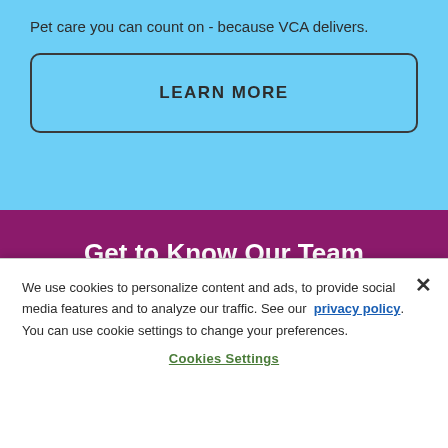Pet care you can count on - because VCA delivers.
LEARN MORE
Get to Know Our Team
Highly knowledgeable and skilled veterinarians and well-trained, qualified staff are ready for your pet and you
We use cookies to personalize content and ads, to provide social media features and to analyze our traffic. See our privacy policy. You can use cookie settings to change your preferences.
Cookies Settings